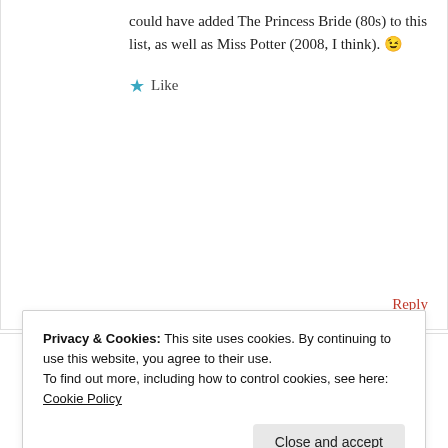could have added The Princess Bride (80s) to this list, as well as Miss Potter (2008, I think). 😉
★ Like
Reply
Advertisements
[Figure (screenshot): Advertisement banner with dark background: bonsai tree icon, text 'Launch your online course with WordPress', and 'Learn More' button]
REPORT THIS AD
Privacy & Cookies: This site uses cookies. By continuing to use this website, you agree to their use.
To find out more, including how to control cookies, see here: Cookie Policy
Close and accept